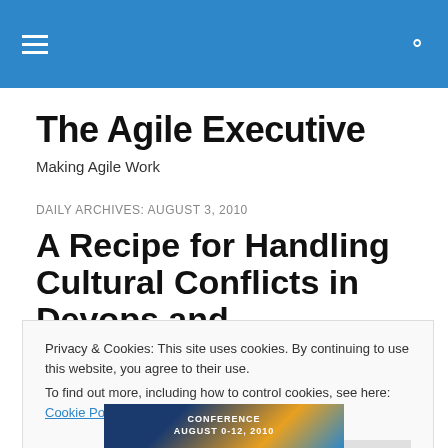The Agile Executive — top navigation bar with hamburger menu and search icon
The Agile Executive
Making Agile Work
DAILY ARCHIVES: AUGUST 3, 2010
A Recipe for Handling Cultural Conflicts in Devops and
Privacy & Cookies: This site uses cookies. By continuing to use this website, you agree to their use.
To find out more, including how to control cookies, see here: Cookie Policy
Close and accept
[Figure (photo): Partial conference image at bottom of page showing 'CONFERENCE' text and partial date 'AUGUST 0-12, 2010']